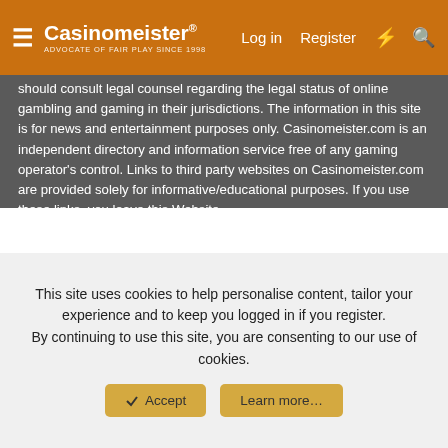Casinomeister® ADVOCATE OF FAIR PLAY SINCE 1998 | Log in | Register
should consult legal counsel regarding the legal status of online gambling and gaming in their jurisdictions. The information in this site is for news and entertainment purposes only. Casinomeister.com is an independent directory and information service free of any gaming operator's control. Links to third party websites on Casinomeister.com are provided solely for informative/educational purposes. If you use these links, you leave this Website.
Copyright 1998-2022 all rights reserved. Casinomeister is a registered trademark. You scrape-a my site, I break-a you face!
Legal and Privacy Policy
🔗 CM Theme   🌐 English (US)
Contact us   Terms and rules   Privacy policy   Help   Home
Community platform by XenForo® © 2010-2022 XenForo Ltd.
Link Checker by AddonsLab
This site uses cookies to help personalise content, tailor your experience and to keep you logged in if you register.
By continuing to use this site, you are consenting to our use of cookies.